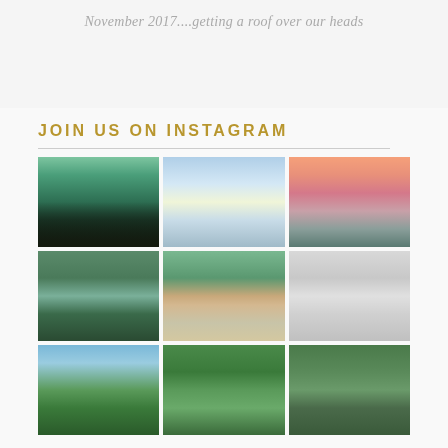November 2017....getting a roof over our heads
JOIN US ON INSTAGRAM
[Figure (photo): 3x3 grid of Instagram photos featuring a dog by lakes, sunsets, forests, and snowy scenes]
[Figure (photo): Lake with sun reflection]
[Figure (photo): Pink orange sunset with dog and misty lake]
[Figure (photo): Dog standing in water near green forest]
[Figure (photo): Dog lying on deck by water with pine tree]
[Figure (photo): Black and white photo of dog in snow]
[Figure (photo): Pine tree against blue sky]
[Figure (photo): Forest with tall green trees]
[Figure (photo): Dog in forest near cabin]